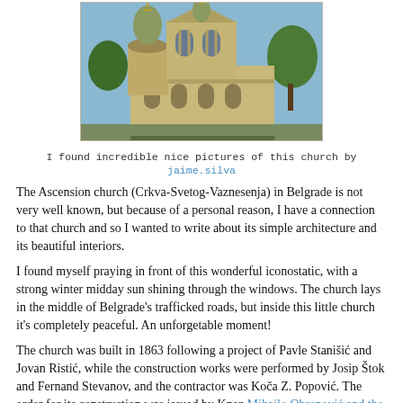[Figure (photo): Photograph of the Ascension church (Crkva-Svetog-Vaznesenja) in Belgrade, showing a domed Orthodox church building against a blue sky with trees.]
I found incredible nice pictures of this church by jaime.silva
The Ascension church (Crkva-Svetog-Vaznesenja) in Belgrade is not very well known, but because of a personal reason, I have a connection to that church and so I wanted to write about its simple architecture and its beautiful interiors.
I found myself praying in front of this wonderful iconostatic, with a strong winter midday sun shining through the windows. The church lays in the middle of Belgrade's trafficked roads, but inside this little church it's completely peaceful. An unforgetable moment!
The church was built in 1863 following a project of Pavle Stanišić and Jovan Ristić, while the construction works were performed by Josip Štok and Fernand Stevanov, and the contractor was Koča Z. Popović. The order for its construction was issued by Knez Mihailo Obrenović and the order was first confirmed then...